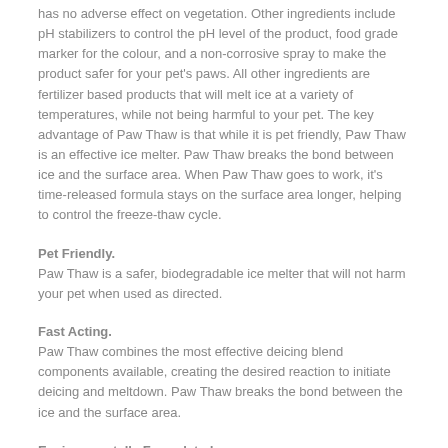has no adverse effect on vegetation. Other ingredients include pH stabilizers to control the pH level of the product, food grade marker for the colour, and a non-corrosive spray to make the product safer for your pet's paws. All other ingredients are fertilizer based products that will melt ice at a variety of temperatures, while not being harmful to your pet. The key advantage of Paw Thaw is that while it is pet friendly, Paw Thaw is an effective ice melter. Paw Thaw breaks the bond between ice and the surface area. When Paw Thaw goes to work, it's time-released formula stays on the surface area longer, helping to control the freeze-thaw cycle.
Pet Friendly.
Paw Thaw is a safer, biodegradable ice melter that will not harm your pet when used as directed.
Fast Acting.
Paw Thaw combines the most effective deicing blend components available, creating the desired reaction to initiate deicing and meltdown. Paw Thaw breaks the bond between the ice and the surface area.
Environmentally Formulated.
The Non-hygroscopic formula is less harmful to grass, trees or other vegetation. Water soluble and odourless.